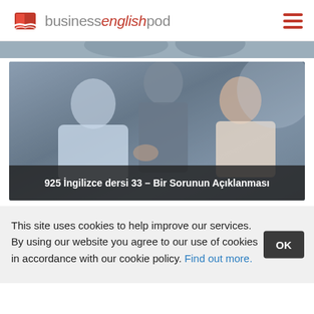businessenglishpod
[Figure (screenshot): Partial screenshot of a blurred group of people in a meeting room, top strip visible]
[Figure (photo): Photo of three people in a business meeting / discussion, with a dark caption bar at the bottom reading '925 İngilizce dersi 33 – Bir Sorunun Açıklanması']
925 İngilizce dersi 33 – Bir Sorunun Açıklanması
This site uses cookies to help improve our services. By using our website you agree to our use of cookies in accordance with our cookie policy. Find out more.